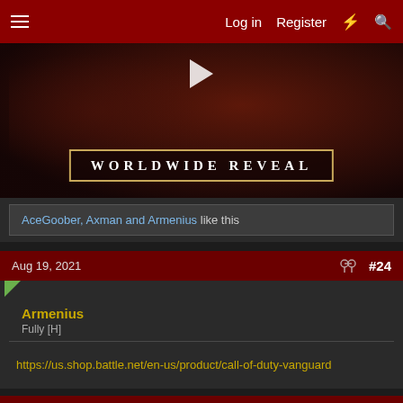≡  Log in  Register  ⚡  🔍
[Figure (screenshot): Video thumbnail of a dark red-tinted scene showing a soldier/character with the text 'WORLDWIDE REVEAL' in a gold-bordered banner, with a play button overlay.]
AceGoober, Axman and Armenius like this
Aug 19, 2021  #24
Armenius
Fully [H]
https://us.shop.battle.net/en-us/product/call-of-duty-vanguard
Aug 19, 2021  #25